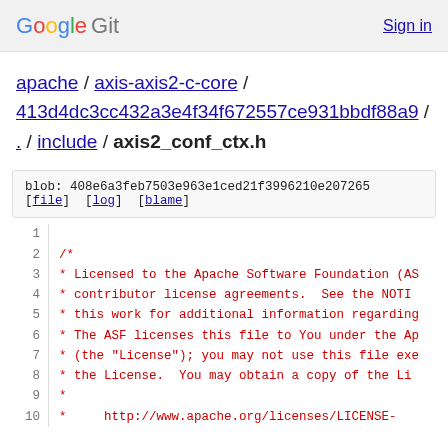Google Git   Sign in
apache / axis-axis2-c-core / 413d4dc3cc432a3e4f34f672557ce931bbdf88a9 / . / include / axis2_conf_ctx.h
blob: 408e6a3feb7503e963e1ced21f3996210e207265
[file]  [log]  [blame]
1
2
3
4
5
6
7
8
9
10
/*
* Licensed to the Apache Software Foundation (AS
* contributor license agreements.  See the NOTI
* this work for additional information regarding
* The ASF licenses this file to You under the Ap
* (the "License"); you may not use this file exe
* the License.  You may obtain a copy of the Li
*
* http://www.apache.org/licenses/LICENSE-